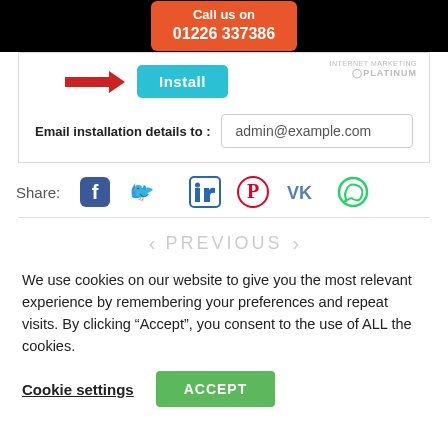Call us on 01226 337386
[Figure (screenshot): Install button with red arrow pointing to a cyan 'Install' button, with Internet Marketing Platinum logo in corner]
Email installation details to : admin@example.com
Share:
[Figure (infographic): Social share icons: Facebook, Twitter, LinkedIn, Pinterest, VK, WhatsApp]
PREVIOUS
We use cookies on our website to give you the most relevant experience by remembering your preferences and repeat visits. By clicking “Accept”, you consent to the use of ALL the cookies.
Cookie settings   ACCEPT